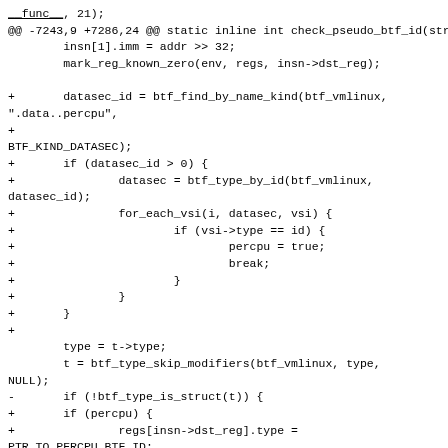Code diff showing changes to check_pseudo_btf_id function including datasec_id lookup, BTF type checking, and percpu register type assignment